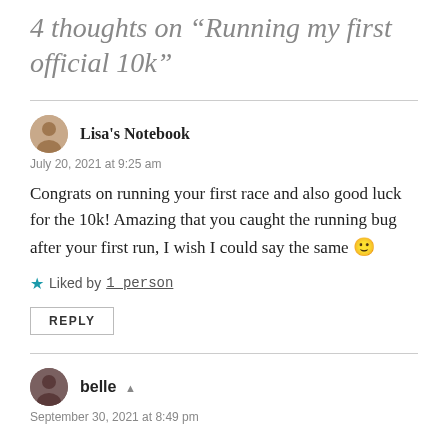4 thoughts on “Running my first official 10k”
July 20, 2021 at 9:25 am
Congrats on running your first race and also good luck for the 10k! Amazing that you caught the running bug after your first run, I wish I could say the same 🙂
★ Liked by 1 person
REPLY
September 30, 2021 at 8:49 pm